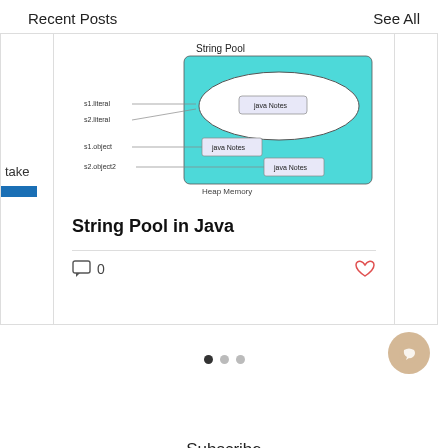Recent Posts    See All
[Figure (schematic): String Pool in Java diagram showing String Pool area with an ellipse labeled 'java Notes' inside a cyan/teal rectangle (Heap Memory). Lines from s1.liteal, s2.literal point to the ellipse, s1.object and s2.object point to separate rectangles labeled 'java Notes' and 'java Notes' in the heap area. Caption: Heap Memory]
String Pool in Java
0
Subscribe